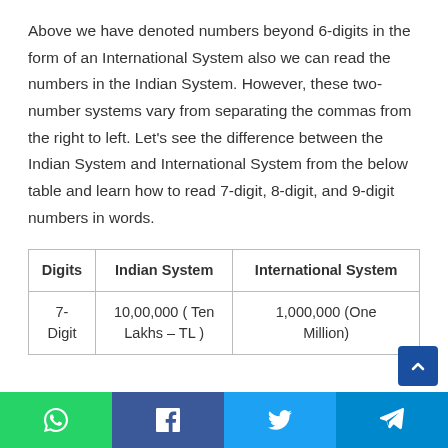Above we have denoted numbers beyond 6-digits in the form of an International System also we can read the numbers in the Indian System. However, these two-number systems vary from separating the commas from the right to left. Let's see the difference between the Indian System and International System from the below table and learn how to read 7-digit, 8-digit, and 9-digit numbers in words.
| Digits | Indian System | International System |
| --- | --- | --- |
| 7-
Digit | 10,00,000 ( Ten
Lakhs – TL ) | 1,000,000 (One
Million) |
WhatsApp | Facebook | Twitter | Telegram